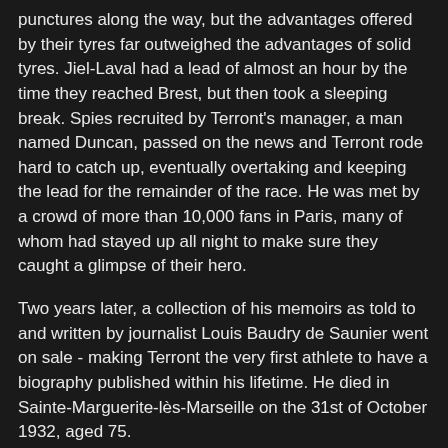punctures along the way, but the advantages offered by their tyres far outweighed the advantages of solid tyres. Jiel-Laval had a lead of almost an hour by the time they reached Brest, but then took a sleeping break. Spies recruited by Terront's manager, a man named Duncan, passed on the news and Terront rode hard to catch up, eventually overtaking and keeping the lead for the remainder of the race. He was met by a crowd of more than 10,000 fans in Paris, many of whom had stayed up all night to make sure they caught a glimpse of their hero.
Two years later, a collection of his memoirs as told to and written by journalist Louis Baudry de Saunier went on sale - making Terront the very first athlete to have a biography published within his lifetime. He died in Sainte-Marguerite-lès-Marseille on the 31st of October 1932, aged 75.
Graeme Brown
Graeme Brown, an Australian cyclist born in Darwin on this day in 1979, won numerous titles on track and on road, including several National Sprint, Pursuit and Scratch races